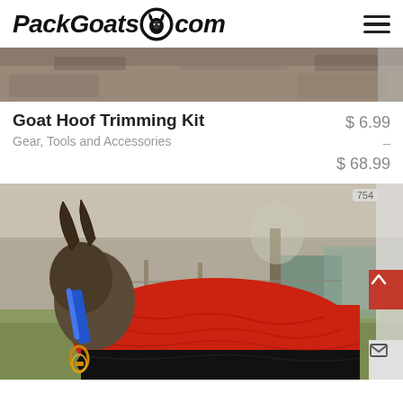[Figure (logo): PackGoats.com logo with italic bold text and a goat head icon in a circular emblem, plus a hamburger menu icon on the right]
[Figure (photo): Top portion of a product image showing rough textured surface, partially cropped]
Goat Hoof Trimming Kit
Gear, Tools and Accessories
$ 6.99 – $ 68.99
[Figure (photo): Photo of a goat wearing a red and black blanket/coat with blue collar and carabiner clip, standing in a farm yard with trees and buildings in background. Badge showing '754' visible in top right corner.]